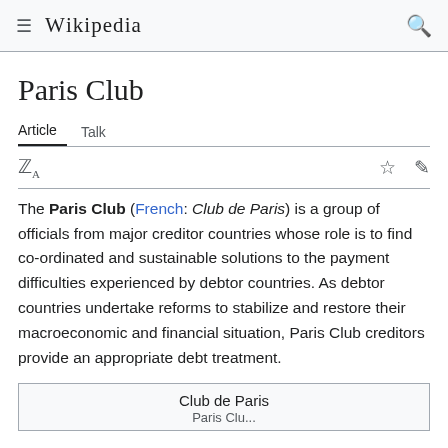Wikipedia
Paris Club
Article   Talk
The Paris Club (French: Club de Paris) is a group of officials from major creditor countries whose role is to find co-ordinated and sustainable solutions to the payment difficulties experienced by debtor countries. As debtor countries undertake reforms to stabilize and restore their macroeconomic and financial situation, Paris Club creditors provide an appropriate debt treatment.
Club de Paris